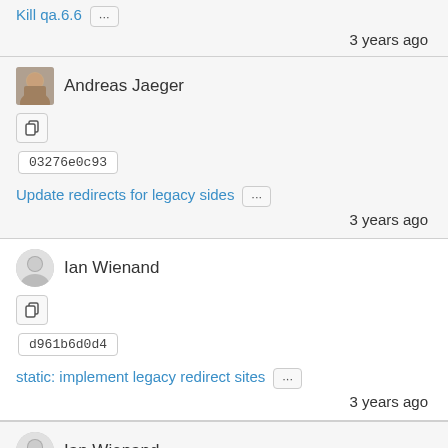Kill qa.6.6 ... 3 years ago
Andreas Jaeger
03276e0c93
Update redirects for legacy sides ...
3 years ago
Ian Wienand
d961b6d0d4
static: implement legacy redirect sites ...
3 years ago
Ian Wienand